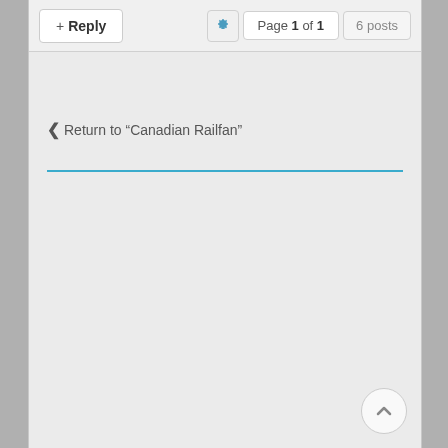+ Reply | Page 1 of 1 | 6 posts
< Return to “Canadian Railfan”